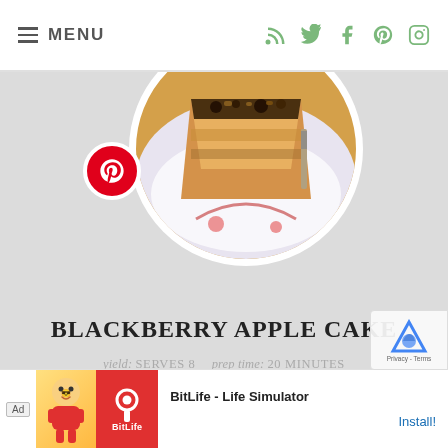MENU
[Figure (photo): Circular cropped photo of a slice of blackberry apple cake on a decorative plate with a fork, showing golden cake with dark berry and nut topping]
BLACKBERRY APPLE CAKE
yield: SERVES 8   prep time: 20 MINUTES
cook time: 1 HOUR 20 MINUTES   total time: 1 HOUR 40 MINUTES
A wonderful moist coffee cake that would be great for a Sunday lunch.
[Figure (infographic): Advertisement banner for BitLife - Life Simulator app with Ad label, cartoon character, red BitLife logo, and Install button]